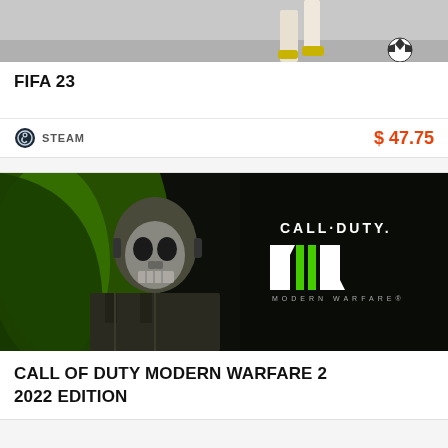[Figure (screenshot): FIFA 23 game card - partial top image showing soccer/football scene with player feet and ball]
FIFA 23
[Figure (logo): Steam platform logo with icon and text STEAM]
$ 47.75
[Figure (screenshot): Call of Duty Modern Warfare 2 game art - skull-masked soldier against green and dark background with CALL DUTY MW2 MODERN WARFARE logo]
CALL OF DUTY MODERN WARFARE 2 2022 EDITION